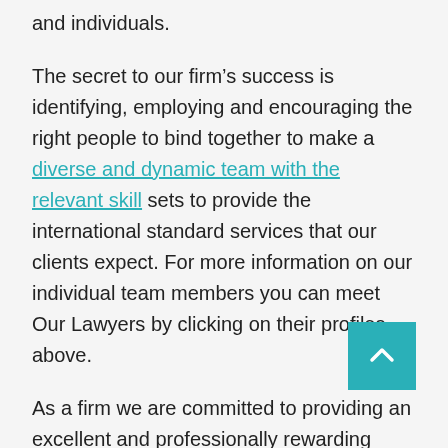and individuals.
The secret to our firm's success is identifying, employing and encouraging the right people to bind together to make a diverse and dynamic team with the relevant skill sets to provide the international standard services that our clients expect. For more information on our individual team members you can meet Our Lawyers by clicking on their profiles above.
As a firm we are committed to providing an excellent and professionally rewarding work environment that expressly aims to develop our employees and provide them with every opportunity to develop in their chosen career. We have a modern approach to human